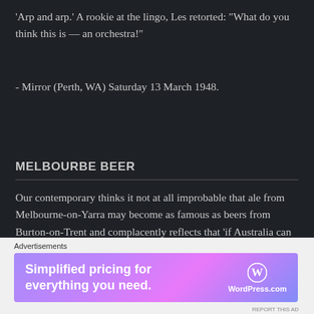'Arp and arp.' A rookie at the lingo, Les retorted: "What do you think this is — an orchestra!"
- Mirror (Perth, WA) Saturday 13 March 1948.
MELBOURBE BEER
Our contemporary thinks it not at all improbable that ale from Melbourne-on-Yarra may become as famous as beers from Burton-on-Trent and complacently reflects that 'if Australia can meet England on the vatted field, and beat her on her beer barrels, there is undoubtedly a great future
[Figure (infographic): WordPress.com advertisement banner with text 'Simplified pricing for everything you need.' on a purple/pink gradient background with WordPress.com logo]